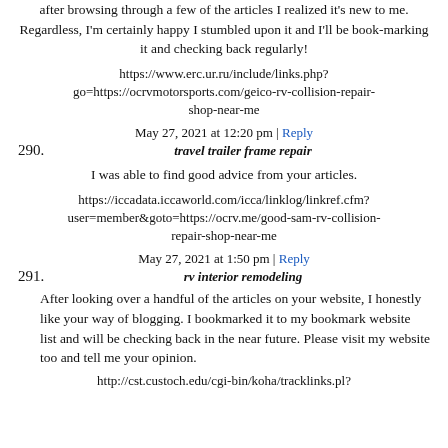after browsing through a few of the articles I realized it's new to me. Regardless, I'm certainly happy I stumbled upon it and I'll be book-marking it and checking back regularly!
https://www.erc.ur.ru/include/links.php?go=https://ocrvmotorsports.com/geico-rv-collision-repair-shop-near-me
May 27, 2021 at 12:20 pm | Reply
290. travel trailer frame repair
I was able to find good advice from your articles.
https://iccadata.iccaworld.com/icca/linklog/linkref.cfm?user=member&goto=https://ocrv.me/good-sam-rv-collision-repair-shop-near-me
May 27, 2021 at 1:50 pm | Reply
291. rv interior remodeling
After looking over a handful of the articles on your website, I honestly like your way of blogging. I bookmarked it to my bookmark website list and will be checking back in the near future. Please visit my website too and tell me your opinion.
http://cst.custoch.edu/cgi-bin/koha/tracklinks.pl?...